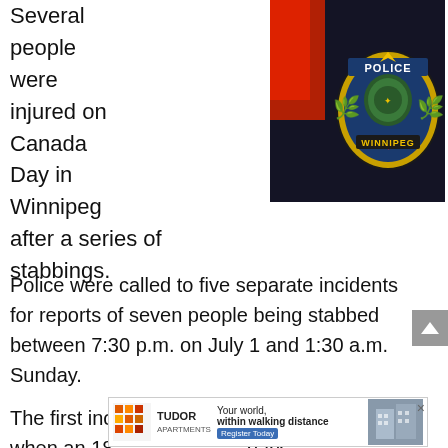Several people were injured on Canada Day in Winnipeg after a series of stabbings.
[Figure (photo): Close-up photo of a Winnipeg Police uniform shoulder patch showing the word POLICE at the top and WINNIPEG at the bottom with a Canadian maple leaf, and a gold badge/crest design on a dark navy background.]
Police were called to five separate incidents for reports of seven people being stabbed between 7:30 p.m. on July 1 and 1:30 a.m. Sunday.
The first incident occurred at around 7:30 p.m. when an 18
[Figure (other): Advertisement banner for Tudor Apartments with text: Your world, within walking distance. Register Today. Shows Tudor Apartments logo and a photo of apartment buildings.]